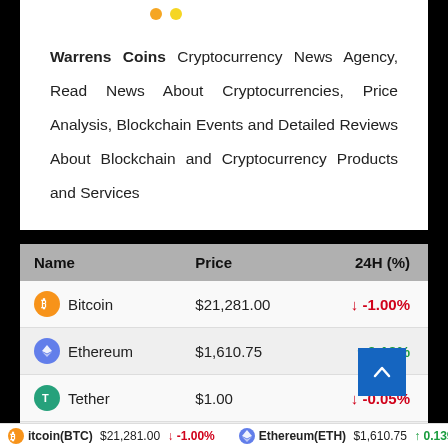Warrens Coins Cryptocurrency News Agency, Read News About Cryptocurrencies, Price Analysis, Blockchain Events and Detailed Reviews About Blockchain and Cryptocurrency Products and Services
| Name | Price | 24H (%) |
| --- | --- | --- |
| Bitcoin | $21,281.00 | ↓ -1.00% |
| Ethereum | $1,610.75 | ↑ 0.13% |
| Tether | $1.00 | ↓ -0.05% |
| BNB | $298.96 | ↑ 0.1… |
| XRP | $0.339512 | ↓ 0.28% |
itcoin(BTC) $21,281.00 ↓ -1.00% | Ethereum(ETH) $1,610.75 ↑ 0.139